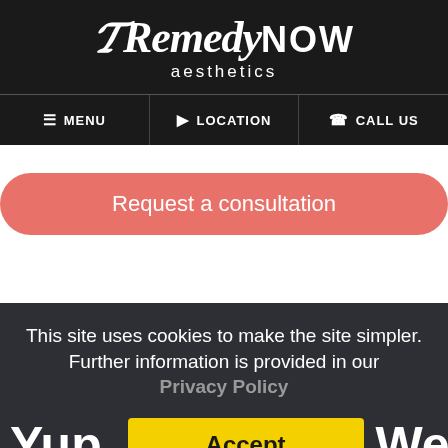[Figure (logo): Remedy NOW aesthetics logo in white on dark background]
≡ MENU   ♥ LOCATION   ✆ CALL US
Request a consultation
This site uses cookies to make the site simpler. Further information is provided in our Privacy Policy
Yup. We don't
Accept